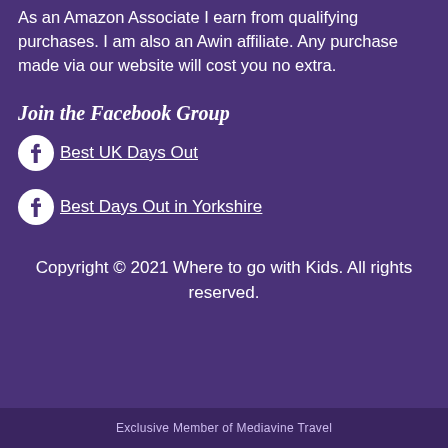As an Amazon Associate I earn from qualifying purchases. I am also an Awin affiliate. Any purchase made via our website will cost you no extra.
Join the Facebook Group
Best UK Days Out
Best Days Out in Yorkshire
Copyright © 2021 Where to go with Kids. All rights reserved.
Exclusive Member of Mediavine Travel